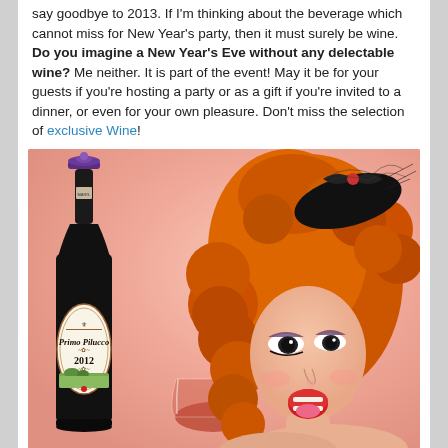say goodbye to 2013. If I'm thinking about the beverage which cannot miss for New Year's party, then it must surely be wine. Do you imagine a New Year's Eve without any delectable wine? Me neither. It is part of the event! May it be for your guests if you're hosting a party or as a gift if you're invited to a dinner, or even for your own pleasure. Don't miss the selection of exclusive Wine!
[Figure (photo): A wine bottle labeled 'Primo Pilucco 2012' with a purple cap, next to a woman with curly orange hair wearing a black fascinator hat, holding a glass of red wine. Pink/salmon gradient background.]